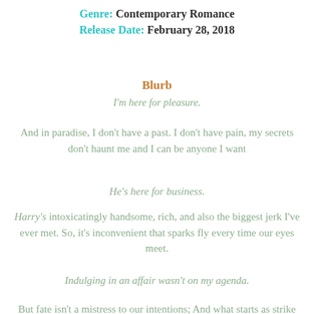Genre: Contemporary Romance
Release Date: February 28, 2018
Blurb
I'm here for pleasure.
And in paradise, I don't have a past. I don't have pain, my secrets don't haunt me and I can be anyone I want
He's here for business.
Harry's intoxicatingly handsome, rich, and also the biggest jerk I've ever met. So, it's inconvenient that sparks fly every time our eyes meet.
Indulging in an affair wasn't on my agenda.
But fate isn't a mistress to our intentions; And what starts as strike of lightening on a moonlit beach ignites a fire between us that will span continents.
Meeting again in the unlikeliest of circumstances feels